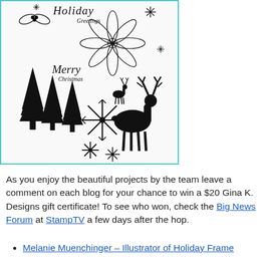[Figure (illustration): A stamp set sheet showing holiday-themed rubber stamps: poinsettia flowers, snowflakes, deer/reindeer silhouette, pine trees, and cursive text stamps reading 'Holiday Greetings' and 'Merry Christmas', all outlined in black on white, bordered with a teal/cyan rectangle border.]
As you enjoy the beautiful projects by the team leave a comment on each blog for your chance to win a $20 Gina K. Designs gift certificate! To see who won, check the Big News Forum at StampTV a few days after the hop.
Melanie Muenchinger – Illustrator of Holiday Frame